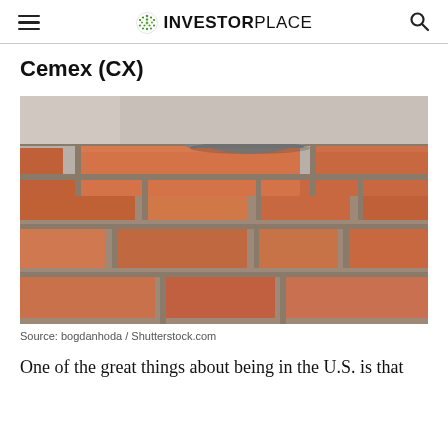INVESTORPLACE
Cemex (CX)
[Figure (photo): Close-up photograph of red/orange bricks being laid by a worker wearing grey work gloves, with mortar between the bricks.]
Source: bogdanhoda / Shutterstock.com
One of the great things about being in the U.S. is that